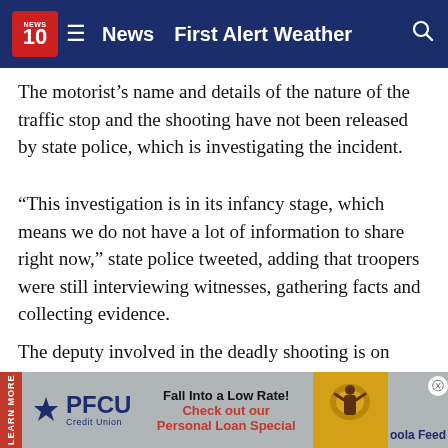NEWS 10 | News | First Alert Weather
The motorist’s name and details of the nature of the traffic stop and the shooting have not been released by state police, which is investigating the incident.
“This investigation is in its infancy stage, which means we do not have a lot of information to share right now,” state police tweeted, adding that troopers were still interviewing witnesses, gathering facts and collecting evidence.
The deputy involved in the deadly shooting is on administrative leave, a routine procedure following police-involved shootings, while state police investigate and the Allegan County Sheriff’s Office conducts an interview review.
[Figure (screenshot): Advertisement banner for PFCU Credit Union with 'Fall Into a Low Rate! Check out our Personal Loan Special' and an autumn photo, with Oola Feed branding]